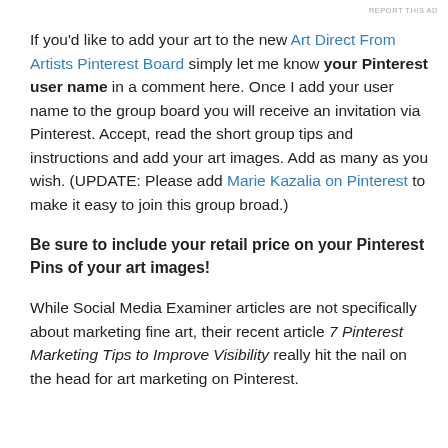REPORT THIS AD
If you'd like to add your art to the new Art Direct From Artists Pinterest Board simply let me know your Pinterest user name in a comment here. Once I add your user name to the group board you will receive an invitation via Pinterest. Accept, read the short group tips and instructions and add your art images. Add as many as you wish. (UPDATE: Please add Marie Kazalia on Pinterest to make it easy to join this group broad.)
Be sure to include your retail price on your Pinterest Pins of your art images!
While Social Media Examiner articles are not specifically about marketing fine art, their recent article 7 Pinterest Marketing Tips to Improve Visibility really hit the nail on the head for art marketing on Pinterest.